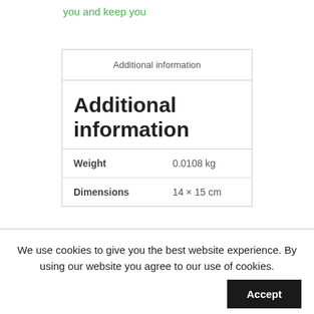you and keep you
| Additional information |
| --- |
| Additional information |  |
| Weight | 0.0108 kg |
| Dimensions | 14 × 15 cm |
We use cookies to give you the best website experience. By using our website you agree to our use of cookies.
Accept
Read More